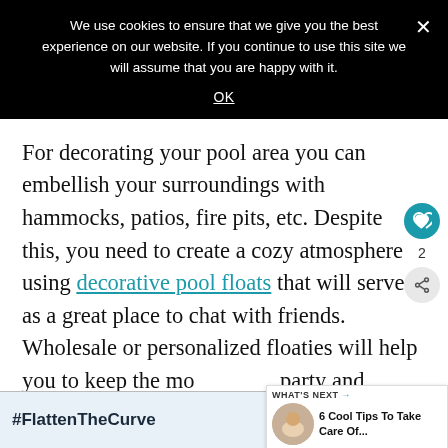We use cookies to ensure that we give you the best experience on our website. If you continue to use this site we will assume that you are happy with it.
OK
For decorating your pool area you can embellish your surroundings with hammocks, patios, fire pits, etc. Despite this, you need to create a cozy atmosphere using decorative pool floats that will serve as a great place to chat with friends. Wholesale or personalized floaties will help you to keep the mood of the party and provide a great place for taking in...
[Figure (screenshot): What's Next promotional widget showing thumbnail and text '6 Cool Tips To Take Care Of...']
[Figure (screenshot): Bottom ad banner with #FlattenTheCurve hashtag and image of hands washing]